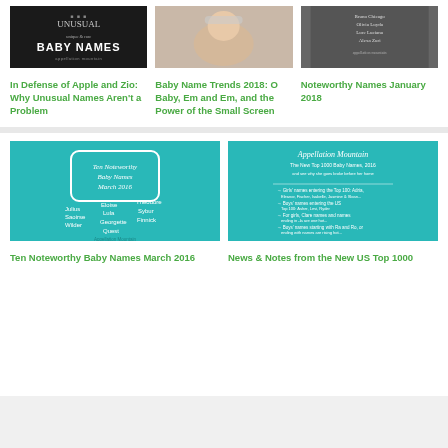[Figure (illustration): Thumbnail for 'In Defense of Apple and Zio' - dark background with text 'UNUSUAL unique & rare BABY NAMES appellation mountain']
[Figure (photo): Thumbnail for 'Baby Name Trends 2018' - photo of newborn baby with headband]
[Figure (illustration): Thumbnail for 'Noteworthy Names January 2018' - dark/glittery background with baby names listed]
In Defense of Apple and Zio: Why Unusual Names Aren’t a Problem
Baby Name Trends 2018: O Baby, Em and Em, and the Power of the Small Screen
Noteworthy Names January 2018
[Figure (illustration): Thumbnail for 'Ten Noteworthy Baby Names March 2016' - teal background with names listed]
[Figure (illustration): Thumbnail for 'News & Notes from the New US Top 1000' - teal background with Appellation Mountain logo and bullet points]
Ten Noteworthy Baby Names March 2016
News & Notes from the New US Top 1000